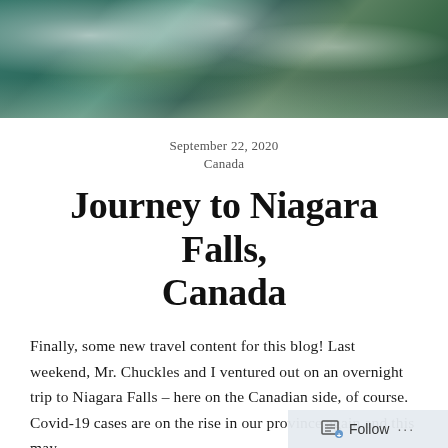[Figure (photo): Aerial photo of water (likely Niagara Falls area) with rocky green cliff edge, turquoise water with white foam/waves]
September 22, 2020
Canada
Journey to Niagara Falls, Canada
Finally, some new travel content for this blog! Last weekend, Mr. Chuckles and I ventured out on an overnight trip to Niagara Falls – here on the Canadian side, of course. Covid-19 cases are on the rise in our province again and this may